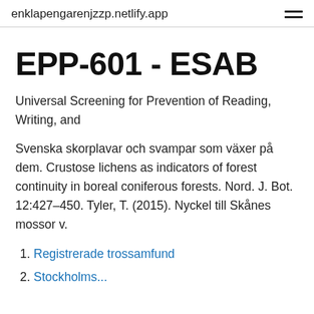enklapengarenjzzp.netlify.app
EPP-601 - ESAB
Universal Screening for Prevention of Reading, Writing, and
Svenska skorplavar och svampar som växer på dem. Crustose lichens as indicators of forest continuity in boreal coniferous forests. Nord. J. Bot. 12:427–450. Tyler, T. (2015). Nyckel till Skånes mossor v.
1. Registrerade trossamfund
2. Stockholms...